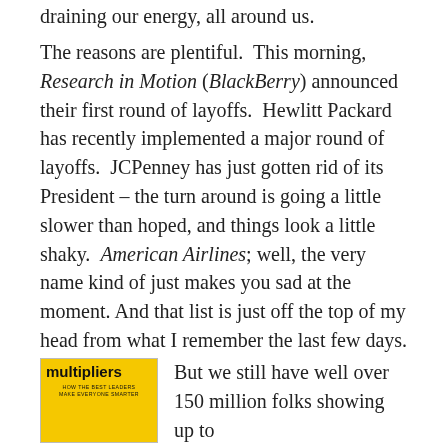draining our energy, all around us.
The reasons are plentiful.  This morning, Research in Motion (BlackBerry) announced their first round of layoffs.  Hewlitt Packard has recently implemented a major round of layoffs.  JCPenney has just gotten rid of its President – the turn around is going a little slower than hoped, and things look a little shaky.  American Airlines; well, the very name kind of just makes you sad at the moment.  And that list is just off the top of my head from what I remember the last few days.
[Figure (illustration): Book cover of 'Multipliers: How the Best Leaders Make Everyone Smarter' with yellow background]
But we still have well over 150 million folks showing up to